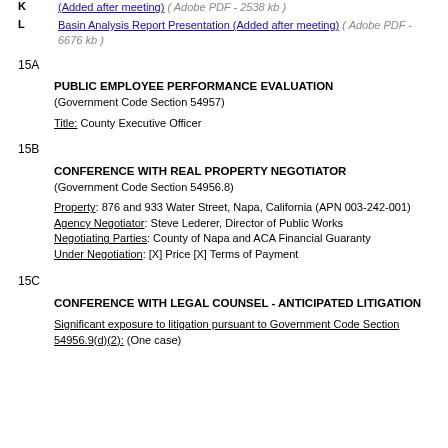K  (Added after meeting) ( Adobe PDF - 2538 kb )
L  Basin Analysis Report Presentation (Added after meeting) ( Adobe PDF - 6676 kb )
15A
PUBLIC EMPLOYEE PERFORMANCE EVALUATION
(Government Code Section 54957)
Title: County Executive Officer
15B
CONFERENCE WITH REAL PROPERTY NEGOTIATOR
(Government Code Section 54956.8)
Property: 876 and 933 Water Street, Napa, California (APN 003-242-001)
Agency Negotiator: Steve Lederer, Director of Public Works
Negotiating Parties: County of Napa and ACA Financial Guaranty
Under Negotiation: [X] Price [X] Terms of Payment
15C
CONFERENCE WITH LEGAL COUNSEL - ANTICIPATED LITIGATION
Significant exposure to litigation pursuant to Government Code Section 54956.9(d)(2): (One case)